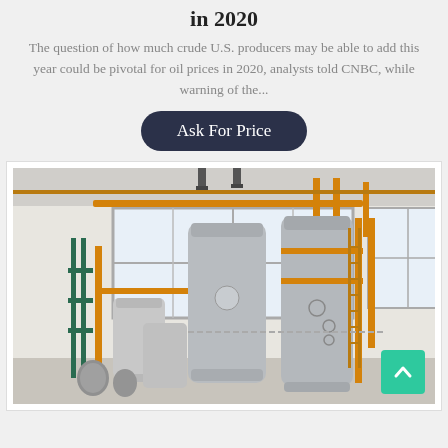in 2020
The question of how much crude U.S. producers may be able to add this year could be pivotal for oil prices in 2020, analysts told CNBC, while warning of the...
Ask For Price
[Figure (photo): Industrial gas processing equipment: large vertical pressure vessels/tanks with orange/yellow piping and smaller stainless steel vessels in a white industrial room with windows.]